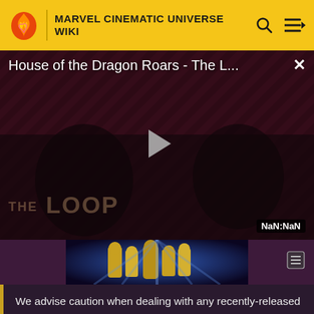MARVEL CINEMATIC UNIVERSE WIKI
[Figure (screenshot): Video player showing 'House of the Dragon Roars - The L...' with a play button overlay, THE LOOP watermark, and NaN:NaN timestamp. Dark background with diagonal stripe pattern.]
[Figure (photo): Thumbnail strip showing a scene with golden armored figures]
We advise caution when dealing with any recently-released media involving multiversal subjects. Please do not make assumptions regarding confusing wording, other sites' speculation, and people's headcanon around the internet.